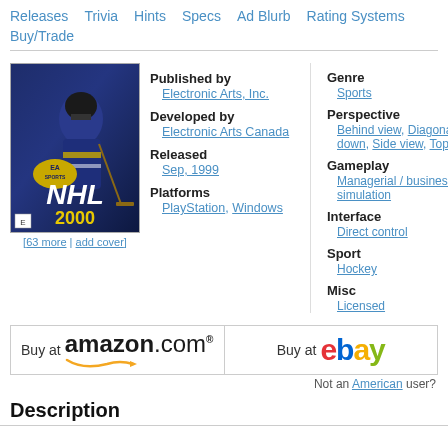Releases  Trivia  Hints  Specs  Ad Blurb  Rating Systems  Buy/Trade
[Figure (photo): NHL 2000 game cover for PlayStation/Windows showing a hockey player in blue and gold uniform with EA Sports logo]
[63 more | add cover]
Published by
  Electronic Arts, Inc.
Developed by
  Electronic Arts Canada
Released
  Sep, 1999
Platforms
  PlayStation, Windows
Genre
  Sports
Perspective
  Behind view, Diagonal-down, Side view, Top-down
Gameplay
  Managerial / business simulation
Interface
  Direct control
Sport
  Hockey
Misc
  Licensed
[Figure (logo): Buy at amazon.com banner with smile logo]
[Figure (logo): Buy at eBay banner with eBay multicolor logo]
Not an American user?
Description